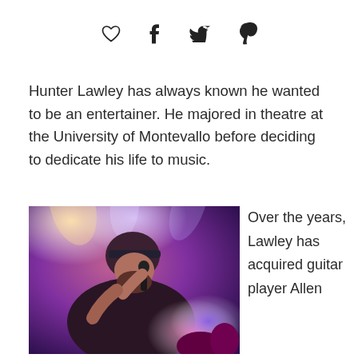[Figure (infographic): Social sharing icons: heart (like), facebook, twitter, pinterest]
Hunter Lawley has always known he wanted to be an entertainer. He majored in theatre at the University of Montevallo before deciding to dedicate his life to music.
[Figure (photo): Photo of Hunter Lawley performing on stage, holding a microphone, wearing a cap, with purple stage lighting in the background]
Over the years, Lawley has acquired guitar player Allen